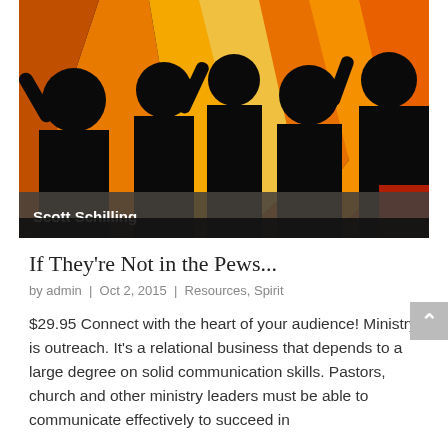[Figure (illustration): Stylized illustration of silhouetted crowd figures with raised hands against an orange and yellow flame/light background. A dark banner at the bottom reads 'Scott Schilling' in bold white text on a gray-brown overlay.]
If They're Not in the Pews...
by admin | Oct 2, 2015 | Resources, Spirit
$29.95 Connect with the heart of your audience! Ministry is outreach. It's a relational business that depends to a large degree on solid communication skills. Pastors, church and other ministry leaders must be able to communicate effectively to succeed in